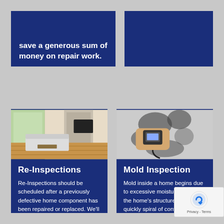save a generous sum of money on repair work.
[Figure (photo): Empty dark blue placeholder box]
[Figure (photo): Interior photo of a modern living room with large windows, stone fireplace, hardwood floors, white sofa, and flat screen TV]
Re-Inspections
Re-Inspections should be scheduled after a previously defective home component has been repaired or replaced. We'll return to site of the original inspection to take an
[Figure (photo): Photo of a hand holding a moisture meter against a mold-covered wall]
Mold Inspection
Mold inside a home begins due to excessive moisture content in the home's structure and can quickly spiral of control. Not only is mold unhealthy, but it can also be quite